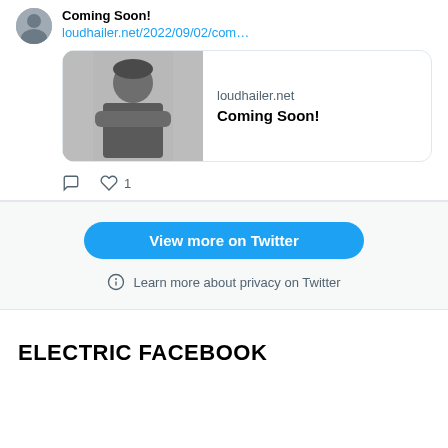Coming Soon!
loudhailer.net/2022/09/02/com…
[Figure (screenshot): Link preview card showing a black-and-white photo of a young person with arms crossed, with text 'loudhailer.net' and 'Coming Soon!']
♡ 1
View more on Twitter
ⓘ Learn more about privacy on Twitter
ELECTRIC FACEBOOK